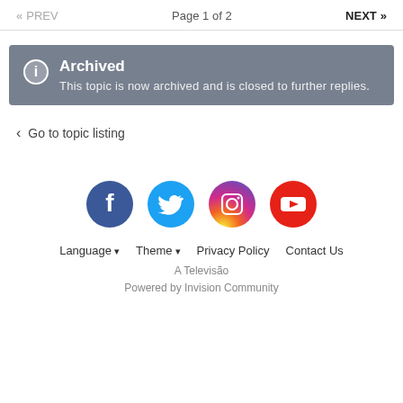« PREV  Page 1 of 2  NEXT »
Archived
This topic is now archived and is closed to further replies.
< Go to topic listing
[Figure (illustration): Social media icons: Facebook (blue circle with f), Twitter (cyan circle with bird), Instagram (pink/red circle with camera), YouTube (red circle with play button)]
Language ▾  Theme ▾  Privacy Policy  Contact Us
A Televisão
Powered by Invision Community